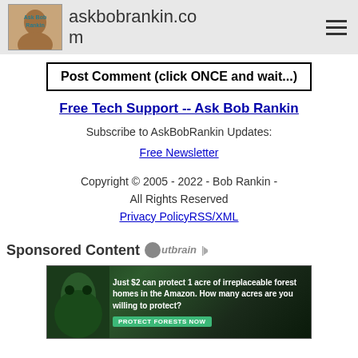askbobrankin.com
Post Comment (click ONCE and wait...)
Free Tech Support -- Ask Bob Rankin
Subscribe to AskBobRankin Updates:
Free Newsletter
Copyright © 2005 - 2022 - Bob Rankin - All Rights Reserved
Privacy PolicyRSS/XML
Sponsored Content [Outbrain logo]
[Figure (photo): Amazon forest protection advertisement: Just $2 can protect 1 acre of irreplaceable forest homes in the Amazon. How many acres are you willing to protect? PROTECT FORESTS NOW]